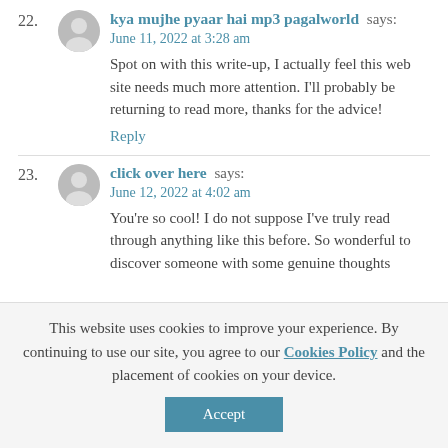22. kya mujhe pyaar hai mp3 pagalworld says: June 11, 2022 at 3:28 am — Spot on with this write-up, I actually feel this web site needs much more attention. I'll probably be returning to read more, thanks for the advice! Reply
23. click over here says: June 12, 2022 at 4:02 am — You're so cool! I do not suppose I've truly read through anything like this before. So wonderful to discover someone with some genuine thoughts
This website uses cookies to improve your experience. By continuing to use our site, you agree to our Cookies Policy and the placement of cookies on your device. Accept